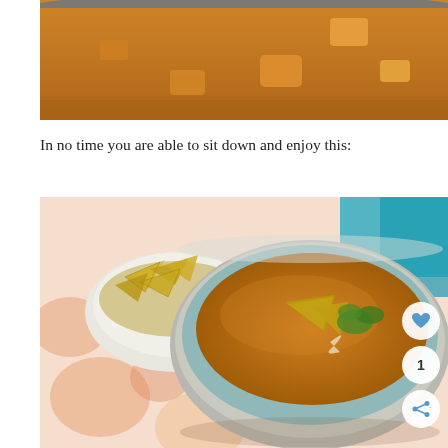[Figure (photo): Close-up top-down view of an orange/golden soup in a bowl with chunks of orange vegetables (butternut squash or similar), with blue rim visible]
In no time you are able to sit down and enjoy this:
[Figure (photo): A bowl of orange tortilla soup topped with tortilla chips and fresh cilantro, served in a light blue/teal ceramic bowl, with a small white bowl of tortilla chips in the background, on a floral fabric surface]